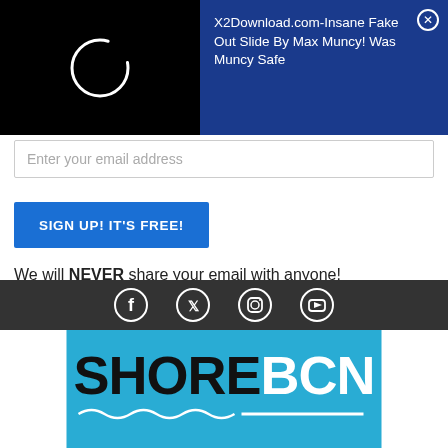[Figure (screenshot): Black area with a white loading circle spinner on the left side of the top ad banner]
X2Download.com-Insane Fake Out Slide By Max Muncy! Was Muncy Safe
Enter your email address
SIGN UP! IT'S FREE!
We will NEVER share your email with anyone!
Sign Up Now! It's Free!
[Figure (screenshot): Dark footer bar with social media icons: Facebook, Twitter, Instagram, YouTube]
[Figure (logo): ShoreBCN logo on light blue background with SHORE in black and BCN in white, with wave decoration underneath]